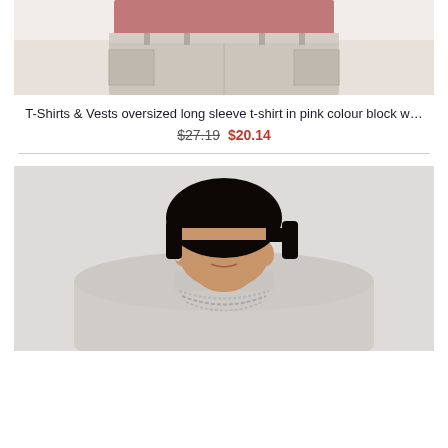[Figure (photo): Cropped photo showing lower body of a male model wearing light beige/stone cargo trousers with a pink top, from waist to mid-thigh, against a white background.]
T-Shirts & Vests oversized long sleeve t-shirt in pink colour block w…
$27.19  $20.14
[Figure (photo): Photo of a young male model from chest up, wearing a light beige/stone oversized sweatshirt and silver chain necklace, with a bowl cut hairstyle, against a light grey background.]